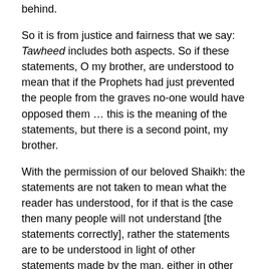behind.
So it is from justice and fairness that we say: Tawheed includes both aspects. So if these statements, O my brother, are understood to mean that if the Prophets had just prevented the people from the graves no-one would have opposed them … this is the meaning of the statements, but there is a second point, my brother.
With the permission of our beloved Shaikh: the statements are not taken to mean what the reader has understood, for if that is the case then many people will not understand [the statements correctly], rather the statements are to be understood in light of other statements made by the man, either in other places [in his works] or from his actual stance.
So if the man is well known for [his] complete tawheed and